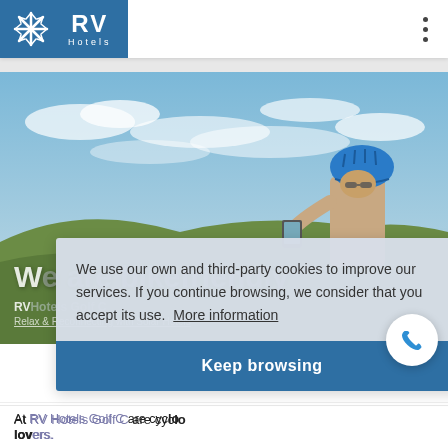[Figure (logo): RV Hotels logo — blue square with white star/snowflake and RV Hotels text]
[Figure (photo): Person wearing blue cycling helmet taking a photo with smartphone on a hilltop with blue sky and clouds]
We are bikefriendly
RV Hotels Golf C
Relax & Reconnecting with Solar Hotels
We use our own and third-party cookies to improve our services. If you continue browsing, we consider that you accept its use.  More information
Keep browsing
At RV Hotels Golf C are cycle lovers.
We enjoy a good climate, our environment is a